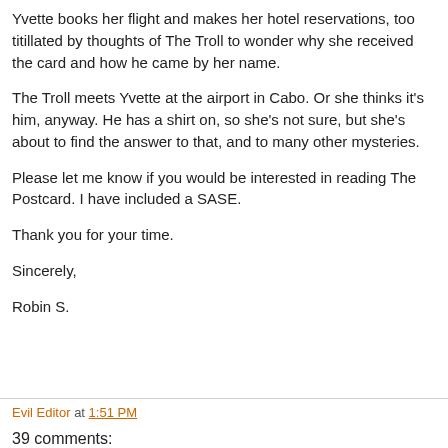Yvette books her flight and makes her hotel reservations, too titillated by thoughts of The Troll to wonder why she received the card and how he came by her name.
The Troll meets Yvette at the airport in Cabo. Or she thinks it's him, anyway. He has a shirt on, so she's not sure, but she's about to find the answer to that, and to many other mysteries.
Please let me know if you would be interested in reading The Postcard. I have included a SASE.
Thank you for your time.
Sincerely,
Robin S.
Evil Editor at 1:51 PM
39 comments: